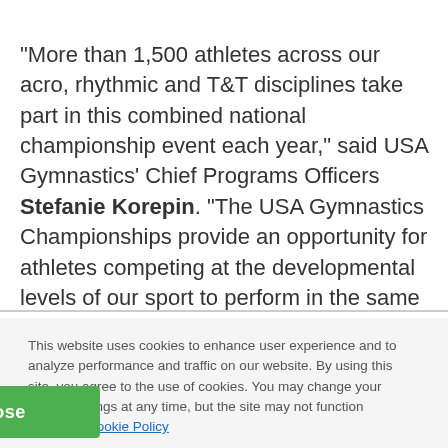“More than 1,500 athletes across our acro, rhythmic and T&T disciplines take part in this combined national championship event each year,” said USA Gymnastics’ Chief Programs Officers Stefanie Korepin. “The USA Gymnastics Championships provide an opportunity for athletes competing at the developmental levels of our sport to perform in the same space as Olympians and World champions. We can’t wait to welcome them back to Des Moines in 2022.”
This website uses cookies to enhance user experience and to analyze performance and traffic on our website. By using this site, you agree to the use of cookies. You may change your cookie settings at any time, but the site may not function properly. Cookie Policy
Close